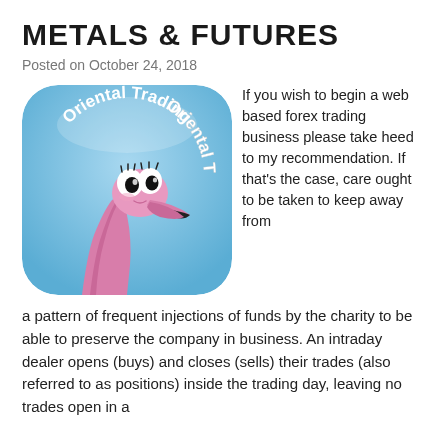METALS & FUTURES
Posted on October 24, 2018
[Figure (illustration): App icon showing a cartoon pink flamingo with large eyes and the text 'Oriental Trading' arched across the top, on a blue gradient rounded-rectangle background.]
If you wish to begin a web based forex trading business please take heed to my recommendation. If that's the case, care ought to be taken to keep away from a pattern of frequent injections of funds by the charity to be able to preserve the company in business. An intraday dealer opens (buys) and closes (sells) their trades (also referred to as positions) inside the trading day, leaving no trades open in a